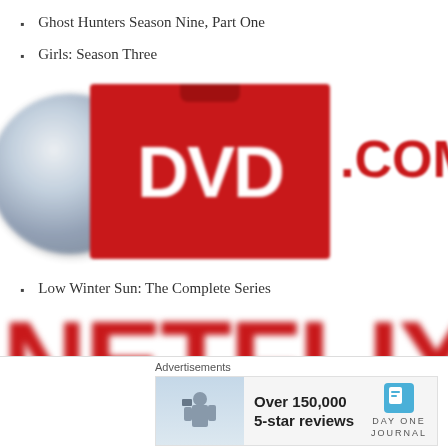Ghost Hunters Season Nine, Part One
Girls: Season Three
[Figure (logo): DVD.com logo with grey disc on left and red box with white DVD text, partially showing .COM in red text to the right]
Low Winter Sun: The Complete Series
[Figure (logo): Netflix logo in large red blurred text on white background]
Advertisements
[Figure (photo): Advertisement banner: photo of person taking picture outdoors, text 'Over 150,000 5-star reviews', Day One Journal logo]